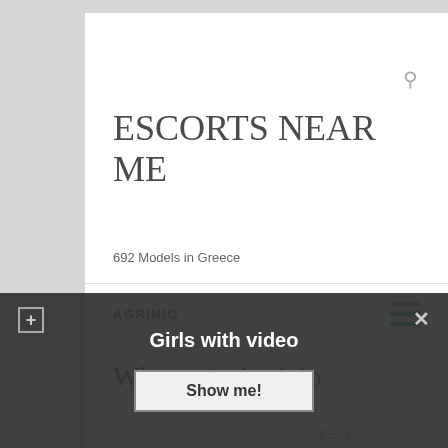ESCORTS NEAR ME
692 Models in Greece
AGRINIO
Whores in Agrinio
BDSM Girls in Greece. Whores in Agrinio. Erotic massage in Ko...
Girls with video
Show me!